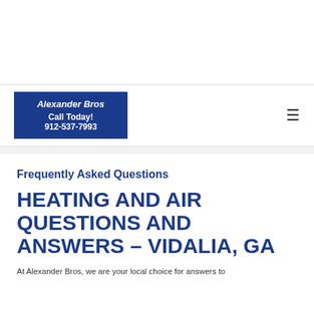[Figure (logo): Alexander Bros logo: dark blue rectangle with white bold text 'Alexander Bros', 'Call Today!', '912-537-7993']
Frequently Asked Questions
HEATING AND AIR QUESTIONS AND ANSWERS – VIDALIA, GA
At Alexander Bros, we are your local choice for answers to